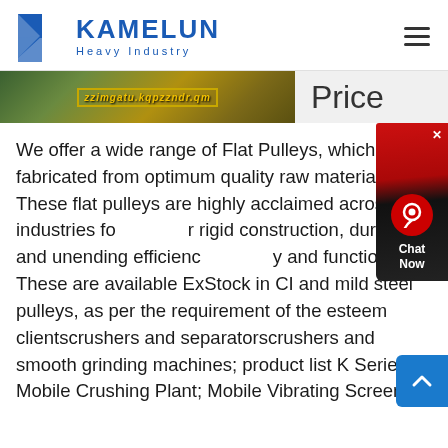KAMELUN Heavy Industry
[Figure (screenshot): Banner image with decorative text overlay and 'Price' heading]
We offer a wide range of Flat Pulleys, which are fabricated from optimum quality raw material These flat pulleys are highly acclaimed across industries for rigid construction, durability and unending efficiency and functionality These are available ExStock in CI and mild steel pulleys, as per the requirement of the esteem clientscrushers and separatorscrushers and smooth grinding machines; product list K Series Mobile Crushing Plant; Mobile Vibrating Screen; Belt Conveyer; Sand Washing Machine; S5X Series Vibrating Screen; GF Series Vibrating Feeder; Ball Mill; Raymond Mill; MW Series Micro Powder Mill; T130X Superfine Grinding Mill; MTW Trapezium Mill ; LM Vertical Mill; 5X Pendulum Roller Mill; VSI6X Seriescrushers and